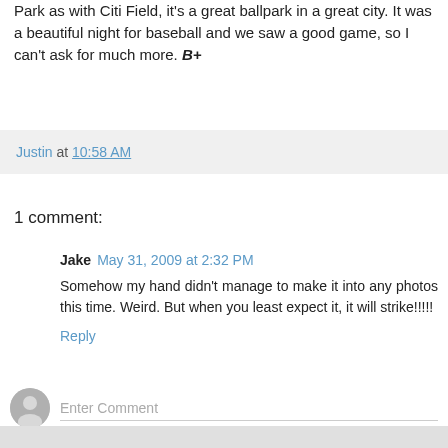Park as with Citi Field, it's a great ballpark in a great city. It was a beautiful night for baseball and we saw a good game, so I can't ask for much more. B+
Justin at 10:58 AM
1 comment:
Jake  May 31, 2009 at 2:32 PM
Somehow my hand didn't manage to make it into any photos this time. Weird. But when you least expect it, it will strike!!!!!
Reply
[Figure (other): User avatar placeholder icon (gray silhouette) for comment input area]
Enter Comment